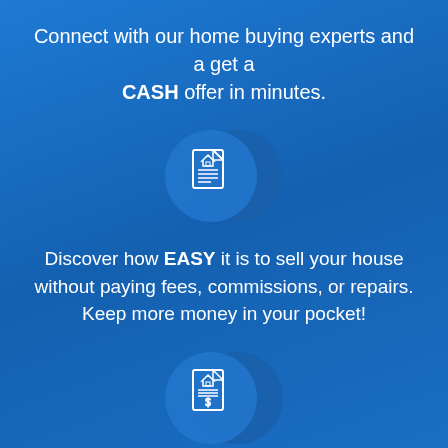Connect with our home buying experts and a get a CASH offer in minutes.
[Figure (illustration): White outline icon of a house document/contract with home symbol and checklist lines, overlaid on two overlapping blue circles]
Discover how EASY it is to sell your house without paying fees, commissions, or repairs. Keep more money in your pocket!
[Figure (illustration): White outline icon of a house document with home symbol, lines and dollar sign, overlaid on two overlapping blue circles]
Sell your house FAST - in as little as 7 days, or